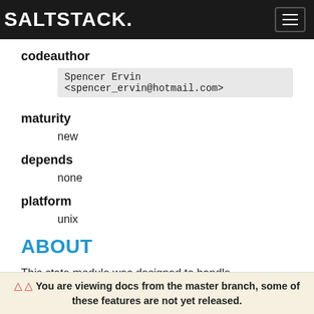SALTSTACK
codeauthor
Spencer Ervin <spencer_ervin@hotmail.com>
maturity
new
depends
none
platform
unix
ABOUT
This state module was designed to handle connections to a Cisco Unified Computing System (UCS) chassis. This module relies on the CIMC proxy module to
⚠ You are viewing docs from the master branch, some of these features are not yet released.